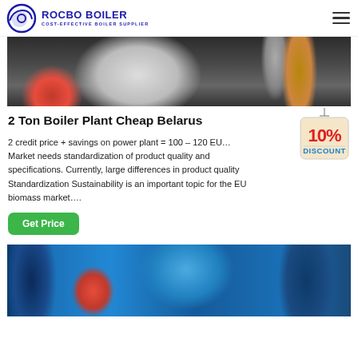ROCBO BOILER — COST-EFFECTIVE BOILER SUPPLIER
[Figure (photo): Industrial boiler machinery photo showing red engine component and large cylindrical vessel with pipes]
2 Ton Boiler Plant Cheap Belarus
2 credit price + savings on power plant = 100 – 120 EU… Market needs standardization of product quality and specifications. Currently, large differences in product quality Standardization Sustainability is an important topic for the EU biomass market….
[Figure (illustration): 10% DISCOUNT badge/tag graphic]
[Figure (photo): Industrial boiler plant interior showing blue cylindrical tank, red components and pipes]